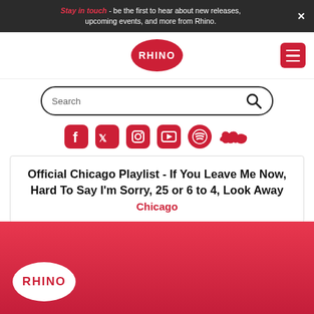Stay in touch - be the first to hear about new releases, upcoming events, and more from Rhino.
[Figure (logo): Rhino Records logo in red oval]
[Figure (screenshot): Search bar with search icon]
[Figure (infographic): Social media icons: Facebook, Twitter, Instagram, YouTube, Spotify, SoundCloud]
Official Chicago Playlist - If You Leave Me Now, Hard To Say I'm Sorry, 25 or 6 to 4, Look Away
Chicago
[Figure (logo): Rhino Records logo in white oval on red footer]